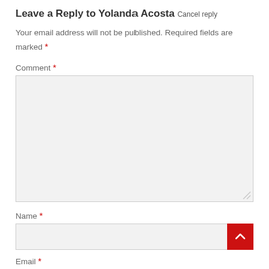Leave a Reply to Yolanda Acosta Cancel reply
Your email address will not be published. Required fields are marked *
Comment *
[Figure (screenshot): Empty comment textarea input box]
Name *
[Figure (screenshot): Empty name text input field with red scroll-to-top button on the right]
Email *